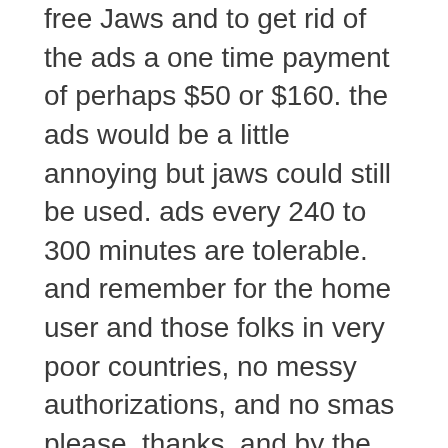free Jaws and to get rid of the ads a one time payment of perhaps $50 or $160. the ads would be a little annoying but jaws could still be used. ads every 240 to 300 minutes are tolerable. and remember for the home user and those folks in very poor countries, no messy authorizations, and no smas please. thanks. and by the way the article chris hofstader former freedom scientific employee wrote on his blog about NVDA now more than ever is excellent!
Jaws Authorization Number: